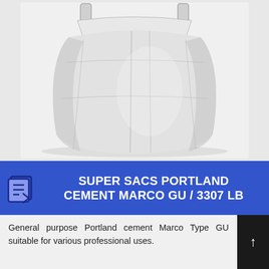[Figure (photo): Large white bulk bag (super sac / FIBC) filled with Portland cement, photographed against a white background. The bag has lifting loops at the top and is bulging with material.]
SUPER SACS PORTLAND CEMENT MARCO GU / 3307 LB
General purpose Portland cement Marco Type GU suitable for various professional uses.